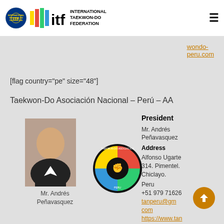International Taekwon-Do Federation
wondo-peru.com
[flag country="pe" size="48"]
Taekwon-Do Asociación Nacional – Perú – AA
[Figure (photo): Portrait photo of Mr. Andrés Peñavasquez]
Mr. Andrés Peñavasquez
[Figure (logo): Taekwon-Do Asociacion Nacional Peru circular logo with colored sections and fist]
President
Mr. Andrés Peñavasquez
Address
Alfonso Ugarte 314. Pimentel. Chiclayo.
Peru
+51 979 71626
tanperu@gmail.com
https://www.tanperu.com